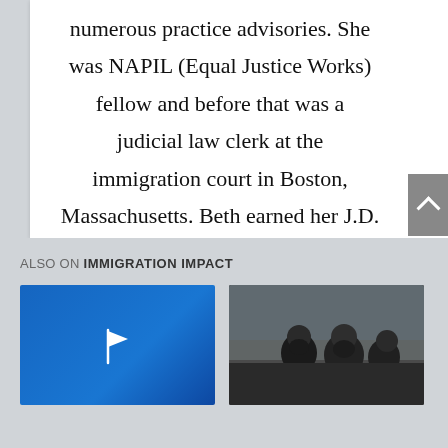Immigration Appeals and is the author of numerous practice advisories. She was NAPIL (Equal Justice Works) fellow and before that was a judicial law clerk at the immigration court in Boston, Massachusetts. Beth earned her J.D. from Boston College Law School and her B.A. from Tufts University.
ALSO ON IMMIGRATION IMPACT
[Figure (photo): Blue background with white flag icon - thumbnail image]
[Figure (photo): Photo of people, appears to show men's faces - thumbnail image]